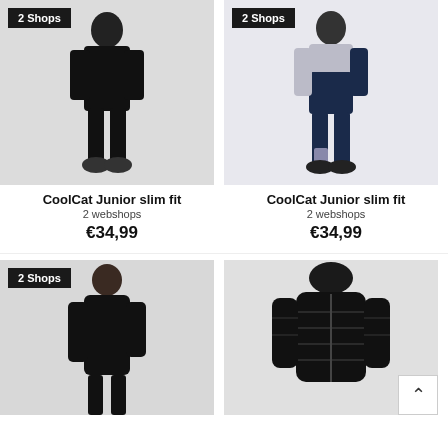[Figure (photo): Boy wearing black slim fit tracksuit, full body, light grey background, '2 Shops' badge top left]
[Figure (photo): Boy wearing navy/grey slim fit tracksuit, full body, white background, '2 Shops' badge top left]
CoolCat Junior slim fit
2 webshops
€34,99
CoolCat Junior slim fit
2 webshops
€34,99
[Figure (photo): Boy wearing black hoodie, partial body, light background, '2 Shops' badge top left]
[Figure (photo): Black puffer jacket with hood, front view on white background, scroll-up button bottom right]